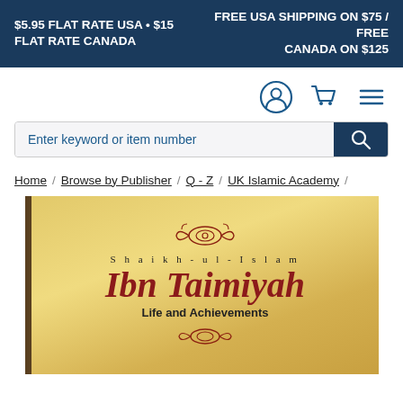$5.95 FLAT RATE USA • $15 FLAT RATE CANADA    FREE USA SHIPPING ON $75 / FREE CANADA ON $125
[Figure (screenshot): Navigation icons: user account circle, shopping cart, and hamburger menu, in dark blue/teal color]
Enter keyword or item number
Home / Browse by Publisher / Q - Z / UK Islamic Academy /
[Figure (photo): Book cover with gold/yellow background. Shows ornamental design at top, text 'Shaikh-ul-Islam' in spaced letters, 'Ibn Taimiyah' in large red italic font, 'Life and Achievements' in bold, and ornamental design at bottom. Spine is dark brown on the left.]